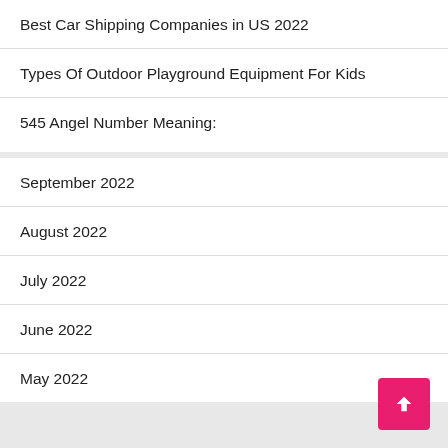Best Car Shipping Companies in US 2022
Types Of Outdoor Playground Equipment For Kids
545 Angel Number Meaning:
September 2022
August 2022
July 2022
June 2022
May 2022